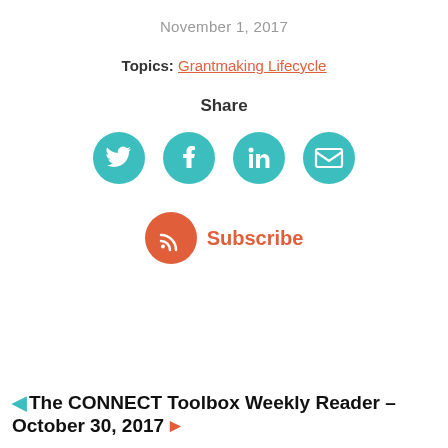November 1, 2017
Topics: Grantmaking Lifecycle
Share
[Figure (infographic): Four teal circular social media icons: Twitter, Facebook, LinkedIn, Email]
[Figure (infographic): Orange circular RSS icon with Subscribe text in orange]
◄ The CONNECT Toolbox Weekly Reader – October 30, 2017 ►